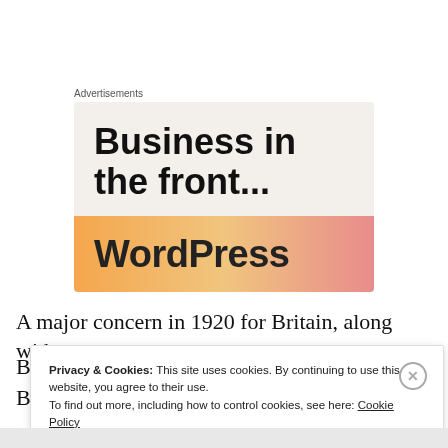Advertisements
[Figure (illustration): WordPress advertisement banner showing 'Business in the front...' headline in dark text on a beige background, with a WordPress wordmark on an orange-to-pink gradient bar at the bottom.]
A major concern in 1920 for Britain, along with
B
B
Privacy & Cookies: This site uses cookies. By continuing to use this website, you agree to their use.
To find out more, including how to control cookies, see here: Cookie Policy
Close and accept